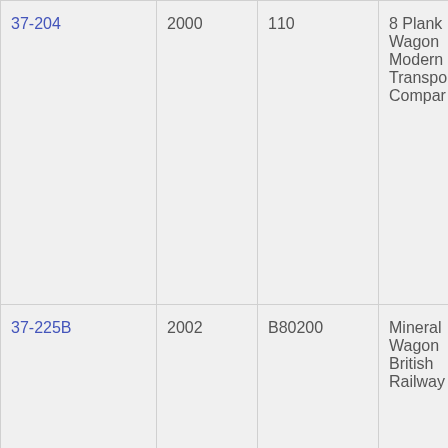| 37-204 | 2000 | 110 | 8 Plank Wagon Modern Transport Company |
| 37-225B | 2002 | B80200 | Mineral Wagon British Railways |
| 37-226A | 2002 | B69007 | Mineral Wagon British Railways |
| 37-227A | 2002 | B106979 | Mineral Wagon British |